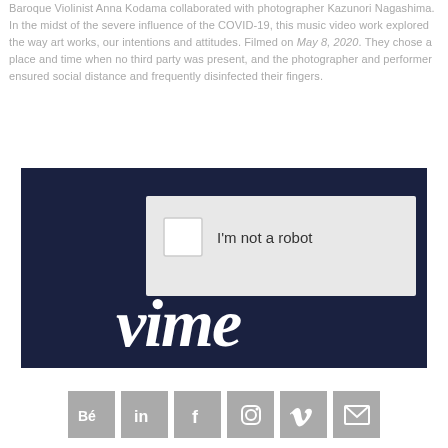Baroque Violinist Anna Kodama collaborated with photographer Kazunori Nagashima. In the midst of the severe influence of the COVID-19, this music video work explored the way art works, our intentions and attitudes. Filmed on May 8, 2020. They chose a place and time when no third party was present, and the photographer and performer ensured social distance and frequently disinfected their fingers.
[Figure (screenshot): Screenshot of a Vimeo video player showing a CAPTCHA 'I'm not a robot' checkbox overlay on a dark navy blue background with partial Vimeo logo text visible at bottom.]
[Figure (infographic): Row of six social media icon buttons (Behance, LinkedIn, Facebook, Instagram, Vimeo, Email) in grey square boxes at the bottom of the page.]